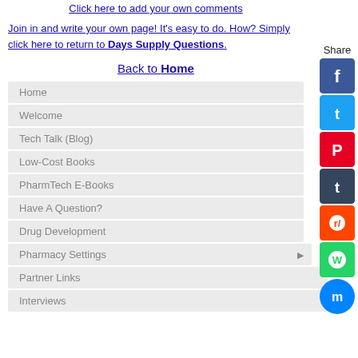Click here to add your own comments
Join in and write your own page! It's easy to do. How? Simply click here to return to Days Supply Questions.
Back to Home
Home
Welcome
Tech Talk (Blog)
Low-Cost Books
PharmTech E-Books
Have A Question?
Drug Development
Pharmacy Settings
Partner Links
Interviews